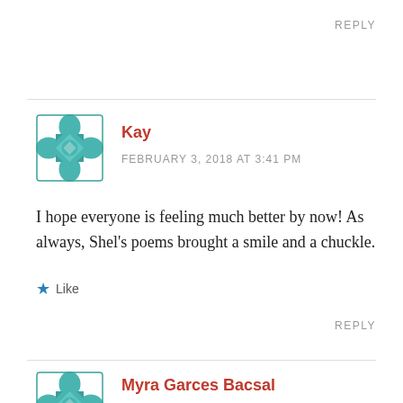REPLY
[Figure (illustration): Teal decorative tile/quilt pattern avatar icon for user Kay]
Kay
FEBRUARY 3, 2018 AT 3:41 PM
I hope everyone is feeling much better by now! As always, Shel's poems brought a smile and a chuckle.
Like
REPLY
[Figure (illustration): Teal decorative tile/quilt pattern avatar icon for user Myra Garces Bacsal]
Myra Garces Bacsal
FEBRUARY 4, 2018 AT 10:38 AM